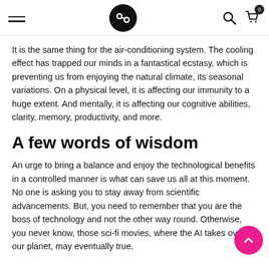Navigation header with hamburger menu, logo, search icon, and cart icon
It is the same thing for the air-conditioning system. The cooling effect has trapped our minds in a fantastical ecstasy, which is preventing us from enjoying the natural climate, its seasonal variations. On a physical level, it is affecting our immunity to a huge extent. And mentally, it is affecting our cognitive abilities, clarity, memory, productivity, and more.
A few words of wisdom
An urge to bring a balance and enjoy the technological benefits in a controlled manner is what can save us all at this moment. No one is asking you to stay away from scientific advancements. But, you need to remember that you are the boss of technology and not the other way round. Otherwise, you never know, those sci-fi movies, where the AI takes over our planet, may eventually true.